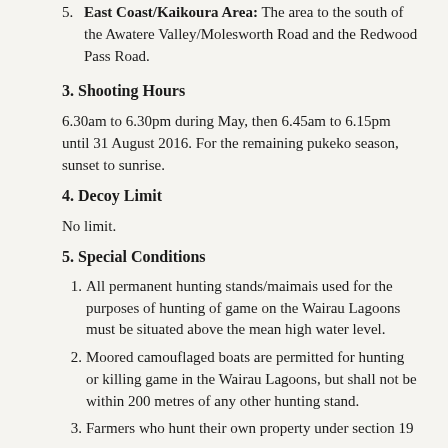5. East Coast/Kaikoura Area: The area to the south of the Awatere Valley/Molesworth Road and the Redwood Pass Road.
3. Shooting Hours
6.30am to 6.30pm during May, then 6.45am to 6.15pm until 31 August 2016. For the remaining pukeko season, sunset to sunrise.
4. Decoy Limit
No limit.
5. Special Conditions
1. All permanent hunting stands/maimais used for the purposes of hunting of game on the Wairau Lagoons must be situated above the mean high water level.
2. Moored camouflaged boats are permitted for hunting or killing game in the Wairau Lagoons, but shall not be within 200 metres of any other hunting stand.
3. Farmers who hunt their own property under section 19